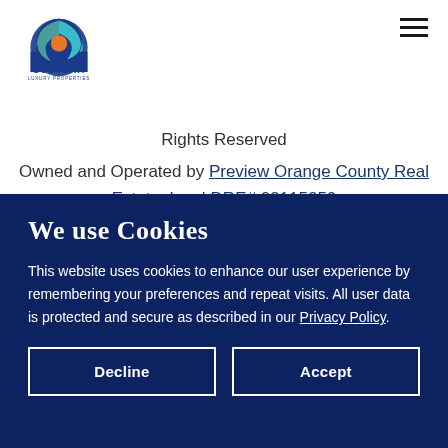[Figure (logo): Costera Luxury Properties logo — circular icon with blue, teal, and orange arcs above text 'COSTERA LUXURY PROPERTIES']
Rights Reserved
Owned and Operated by Preview Orange County Real Estate, Inc. | DRE# 02115250
Join Costera
We use Cookies
This website uses cookies to enhance our user experience by remembering your preferences and repeat visits. All user data is protected and secure as described in our Privacy Policy.
Decline
Accept